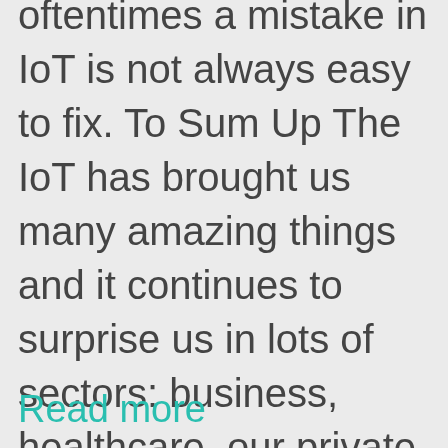oftentimes a mistake in IoT is not always easy to fix. To Sum Up The IoT has brought us many amazing things and it continues to surprise us in lots of sectors: business, healthcare, our private lives. As for the downsides, now that you are more aware of them, try to keep those under control. Protect your data and be aware of how automation and easy access can affect you or your business. The post The Biggest Advantages and Disadvantages of IoT appeared first on ReadWrite. Read more.....
Read more